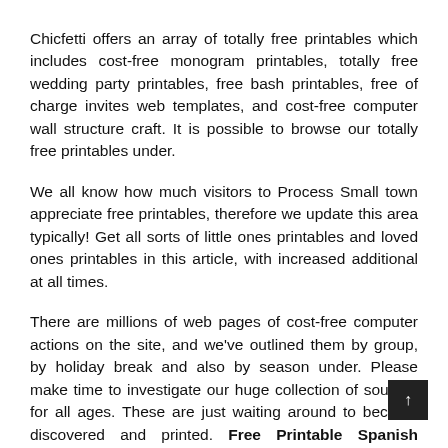Chicfetti offers an array of totally free printables which includes cost-free monogram printables, totally free wedding party printables, free bash printables, free of charge invites web templates, and cost-free computer wall structure craft. It is possible to browse our totally free printables under.
We all know how much visitors to Process Small town appreciate free printables, therefore we update this area typically! Get all sorts of little ones printables and loved ones printables in this article, with increased additional at all times.
There are millions of web pages of cost-free computer actions on the site, and we've outlined them by group, by holiday break and also by season under. Please make time to investigate our huge collection of sources for all ages. These are just waiting around to become discovered and printed. Free Printable Spanish Alphabet Worksheets